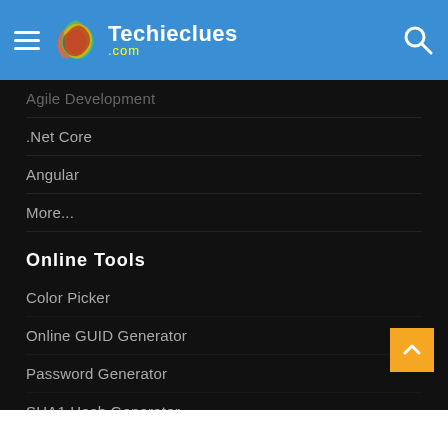Techieclues.com — navigation header with hamburger menu, logo, and search icon
Agile Development
.Net Core
Angular
More...
Online Tools
Color Picker
Online GUID Generator
Password Generator
SHA1 Hash Generator
SHA256 Hash Generator
SHA512 Hash Generator